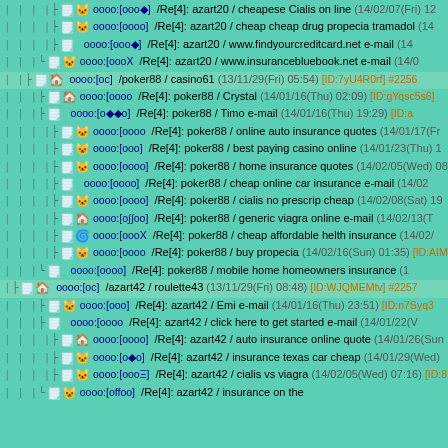|-[icon][icon] oooo:[ooo◆] /Re[4]: azart20 / cheapese Cialis on line (14/02/07(Fri) 12...
|-[icon][icon] oooo:[oooo] /Re[4]: azart20 / cheap cheap drug propecia tramadol (14...
|-[icon] oooo:[ooo◆] /Re[4]: azart20 / www.findyourcreditcard.net e-mail (14...
L-[icon][icon] oooo:[oooX /Re[4]: azart20 / www.insurancebluebook.net e-mail (14/0...
[icon][icon] oooo:[oc] /poker88 / casino61 (13/11/29(Fri) 05:54) [ID:7yU4R0rf] #2256
|-[icon][icon] oooo:[oooo /Re[4]: poker88 / Crystal (14/01/16(Thu) 02:09) [ID:gYqsc5s6]
|-[icon] oooo:[o◆◆o] /Re[4]: poker88 / Timo e-mail (14/01/16(Thu) 19:29) [ID:a...
|-[icon][icon] oooo:[oooo /Re[4]: poker88 / online auto insurance quotes (14/01/17(Fr...
|-[icon][icon] oooo:[ooo] /Re[4]: poker88 / best paying casino online (14/01/23(Thu) 1...
|-[icon][icon] oooo:[oooo] /Re[4]: poker88 / home insurance quotes (14/02/05(Wed) 08...
|-[icon] oooo:[oooo] /Re[4]: poker88 / cheap online car insurance e-mail (14/02...
|-[icon][icon] oooo:[oooo] /Re[4]: poker88 / cialis no prescrip cheap (14/02/08(Sat) 19...
|-[icon][icon] oooo:[o∫∫oo] /Re[4]: poker88 / generic viagra online e-mail (14/02/13(T...
|-[icon][icon] oooo:[oooX /Re[4]: poker88 / cheap affordable helth insurance (14/02/...
|-[icon][icon] oooo:[oooo /Re[4]: poker88 / buy propecia (14/02/16(Sun) 01:35) [ID:AIM...
L-[icon] oooo:[oooo] /Re[4]: poker88 / mobile home homeowners insurance (1...
[icon][icon] oooo:[oc] /azart42 / roulette43 (13/11/29(Fri) 08:48) [ID:WJQMEMtv] #2257
|-[icon][icon] oooo:[ooo] /Re[4]: azart42 / Emi e-mail (14/01/16(Thu) 23:51) [ID:n7Syq3...
|-[icon] oooo:[oooo /Re[4]: azart42 / click here to get started e-mail (14/01/22(V...
|-[icon][icon] oooo:[oooo] /Re[4]: azart42 / auto insurance online quote (14/01/26(Sun...
|-[icon][icon] oooo:[o◆o] /Re[4]: azart42 / insurance texas car cheap (14/01/29(Wed)...
|-[icon][icon] oooo:[oooΞ] /Re[4]: azart42 / cialis vs viagra (14/02/05(Wed) 07:16) [ID:8...
L-[icon][icon] oooo:[offoo] /-/Re[4]: azart42 / insurance on the...